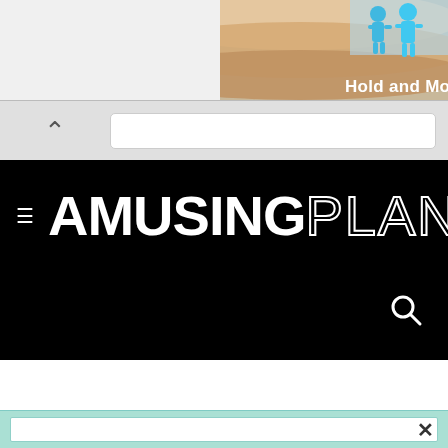[Figure (screenshot): Partial advertisement banner showing sandy/skin-tone layered background with two cyan-colored 3D human figures and white bold text reading 'Hold and Mov' (truncated)]
[Figure (screenshot): Browser navigation bar with a caret/up-arrow button on the left and a white address bar on the right]
AMUSINGPLANET
[Figure (screenshot): Search icon (magnifying glass) in white on black background in the top-right of the navigation header]
[Figure (screenshot): Bottom teal/mint colored bar with an X close button and a white inner box, partially visible at the bottom of the page]